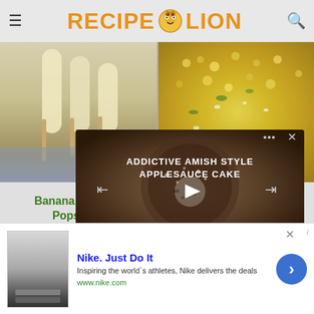RecipeLion
[Figure (photo): Close-up of banana pudding popsicles with creamy yellow color]
Banana Pudding Popsicles
[Figure (photo): Mexican Street Corn dish with corn, cheese and toppings]
Mexican Street Corn
[Figure (screenshot): Video overlay showing Addictive Amish Style Applesauce Cake with play controls]
[Figure (photo): Nike advertisement banner - Nike. Just Do It. Inspiring the world's athletes, Nike delivers the deals. www.nike.com]